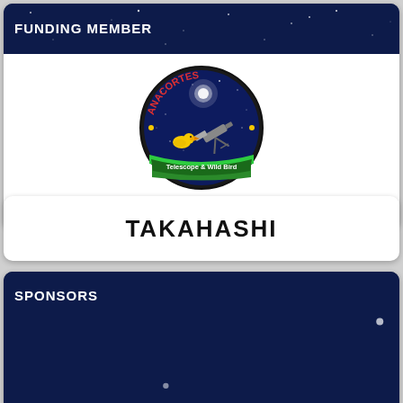FUNDING MEMBER
[Figure (logo): Anacortes Telescope & Wild Bird circular logo with dark blue starfield background, telescope and yellow bird, text 'Telescope & Wild Bird' at bottom]
Telescopes, Astronomy, Binoculars
TAKAHASHI
SPONSORS
AstroMart LLC
Anacortes Telescope
Pier-Tech Inc.
TeleVue Optics
SellTelescopes.com
SkyShed Observatories